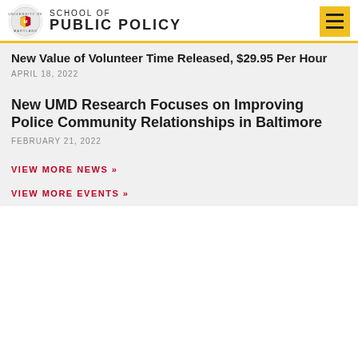University of Maryland School of Public Policy
New Value of Volunteer Time Released, $29.95 Per Hour
APRIL 18, 2022
New UMD Research Focuses on Improving Police Community Relationships in Baltimore
FEBRUARY 21, 2022
VIEW MORE NEWS »
VIEW MORE EVENTS »